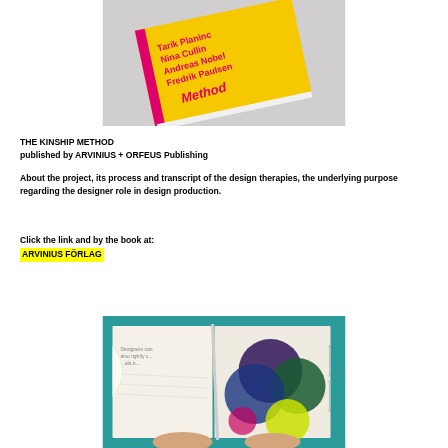[Figure (photo): A yellow book cover titled 'Method' with author names in pink/magenta text including Tarik Planinc, Nina Cullin, Andreas Nobel, Fredrik Paulsen, photographed at an angle on a light grey surface]
THE KINSHIP METHOD
published by ARVINIUS + ORFEUS Publishing
About the project, its process and transcript of the design therapies, the underlying purpose regarding the designer role in design production.
Click the link and by the book at:
ARVINIUS FÖRLAG
[Figure (photo): An open book being held by hands, showing pages with colorful overlapping abstract circle shapes in dark purple, green, blue and yellow tones on a teal background]